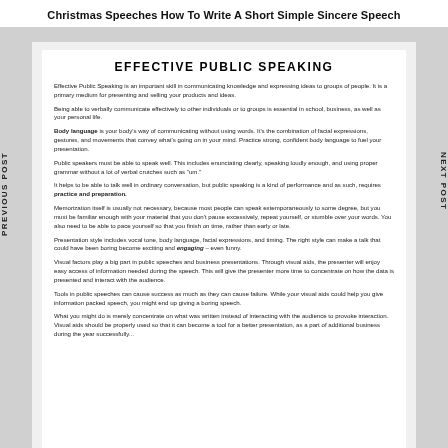Christmas Speeches How To Write A Short Simple Sincere Speech
EFFECTIVE PUBLIC SPEAKING
Effective Public Speaking is an important skill in communicating knowledge and expressing ideas to groups of people. It is a primary medium for presenting and selling your products and ideas.
Being able to verbally communicate effectively to other individuals or to groups is essential in school, business, as well as your personal life.
Body language is your body's way of communicating without using words. It's the combination of facial expressions, gestures, and movements that convey what's going on in your mind. Practice strong, confident body language to fuel your presentation.
Public speakers must be able to speak well. This includes enunciating clearly, speaking loudly enough, and using proper grammar without a lot of verbal crutches such as "um."
It helps to be able to talk well in ordinary conversation, but public speaking is a kind of performance and as such, requires practice and preparation.
Memorization itself is usually not necessary, because most people can speak extemporaneously to some degree, but you must be familiar enough with your material that you don't pause excessively, repeat yourself, or stumble over your words. You also need to be able to pace yourself so that you finish on time, rather than early or late.
Presentation style includes vocal tone, body language, facial expressions, and timing. The right style can make a talk that could have been boring become exciting and engaging - even funny.
Visual factors play a big part in public speeches and business presentations. Through visual aids, the presenter will enjoy easy access of information needed during the speech. This will give the presenter more time to concentrate on how the data is presented and interact with the audience.
Tools in public speeches can cause success as much as they can cause failure. While your visual aids could help you give information packed speech, you might end up giving a boring speech.
What you might do is merely concentrate on what was written instead of interacting with the audience to provoke interaction. Visual aids should be properly used so that it can become a tool for a better presentation, as a part of additional business during the year successfully...